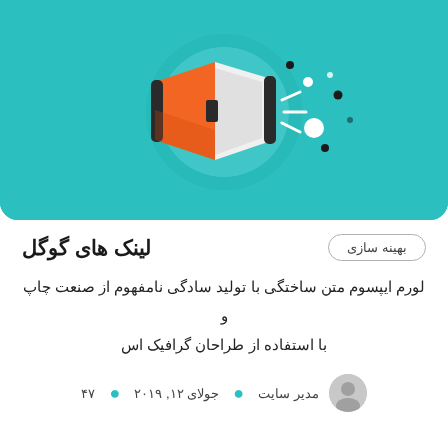[Figure (illustration): Teal/turquoise rounded rectangle banner with a megaphone/loudspeaker illustration in the center. The megaphone has an orange body, white cone, black handle, and radiates sound waves with dots around it on a circular light teal background.]
لینک های گوگل
بهینه سازی
لورم ایپسوم متن ساختگی با تولید سادگی نامفهوم از صنعت چاپ و با استفاده از طراحان گرافیک اس
مدیر سایت • جولای ۱۲, ۲۰۱۹ • ۴۷